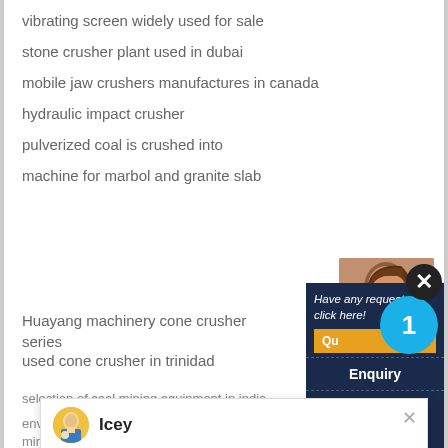vibrating screen widely used for sale
stone crusher plant used in dubai
mobile jaw crushers manufactures in canada
hydraulic impact crusher
pulverized coal is crushed into
machine for marbol and granite slab
Huayang machinery cone crusher series
used cone crusher in trinidad
selection of coal mining equipment in india
environmental impact of sand and gravel mining
talc powder grinding plant for sale india
ouble belt grinding machine
[Figure (screenshot): Chat popup from Liming Heavy Industry with agent Icey and welcome message]
[Figure (infographic): Right sidebar with contact info, Enquiry button, badge with number 1, and email limingjlmofen@sina.com]